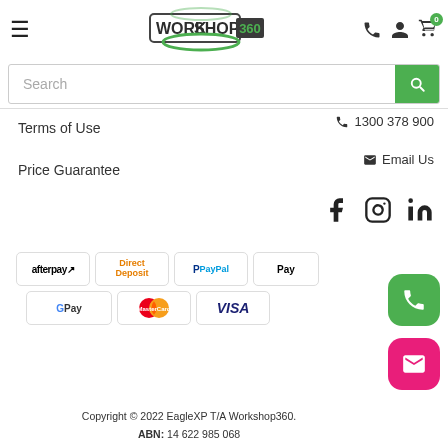[Figure (logo): Workshop360 logo with green circle swoosh]
Search
Terms of Use
Price Guarantee
📞 1300 378 900
✉ Email Us
[Figure (illustration): Social media icons: Facebook, Instagram, LinkedIn]
[Figure (illustration): Payment method logos: Afterpay, Direct Deposit, PayPal, Apple Pay, Google Pay, MasterCard, VISA]
Copyright © 2022 EagleXP T/A Workshop360.
ABN: 14 622 985 068